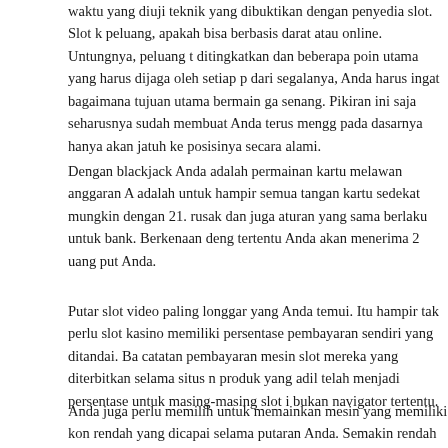waktu yang diuji teknik yang dibuktikan dengan penyedia slot. Slot k peluang, apakah bisa berbasis darat atau online. Untungnya, peluang t ditingkatkan dan beberapa poin utama yang harus dijaga oleh setiap p dari segalanya, Anda harus ingat bagaimana tujuan utama bermain ga senang. Pikiran ini saja seharusnya sudah membuat Anda terus mengg pada dasarnya hanya akan jatuh ke posisinya secara alami.
Dengan blackjack Anda adalah permainan kartu melawan anggaran A adalah untuk hampir semua tangan kartu sedekat mungkin dengan 21. rusak dan juga aturan yang sama berlaku untuk bank. Berkenaan deng tertentu Anda akan menerima 2 uang put Anda.
Putar slot video paling longgar yang Anda temui. Itu hampir tak perlu slot kasino memiliki persentase pembayaran sendiri yang ditandai. Ba catatan pembayaran mesin slot mereka yang diterbitkan selama situs n produk yang adil telah menjadi persentase untuk masing-masing slot i bukan navigator tertentu.
Anda juga perlu memilih untuk memainkan mesin yang memiliki kon rendah yang dicapai selama putaran Anda. Semakin rendah kombinas